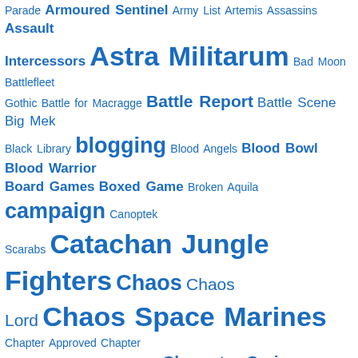[Figure (other): Tag cloud of gaming/hobby related terms in various font sizes, all in blue. Tags include: Parade, Armoured Sentinel, Army List, Artemis, Assassins, Assault Intercessors, Astra Militarum, Bad Moon, Battlefleet Gothic, Battle for Macragge, Battle Report, Battle Scene, Big Mek, Black Library, blogging, Blood Angels, Blood Bowl, Blood Warrior, Board Games, Boxed Game, Broken Aquila, campaign, Canoptek Scarabs, Catachan Jungle Fighters, Chaos, Chaos Lord, Chaos Space Marines, Chapter Approved, Chapter Master, Character Death Table, Character Series, Chimera, Christmas, Christmas Gift Challenge, Commander, Command Squad, Conquest, Contemptor, Craftworld, Crashed Aquila Lander, Creations of Bile, Crimson Slaughter, CSM, Cultists, Da Red Gobbo, Dark Angels, Dark Eldar, Dark Vengeance, Davius the Swift, Deadzone Terrain Booster, Death Guard, Deathwatch, Deathwatch Veterans, Deff Dread, Devastators, Does it 8th?, Dreadnought, Dreadtober, ebooks, Eldar, Eothrus, Eradicators, Escalation League, Events, Evil Sunz, Exhaulted Champion, Exterminatus, F.A.T Mat, Feathering, Featured, First Founding Gaming Club, First Strike, Games Workshop, GamesWorkshop, Gaming, Gaming Board, Gaming Table, Goliath, Gothic City Building, Gravis, Grots]